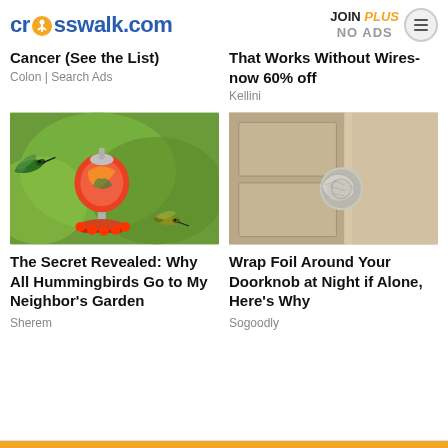crosswalk.com
JOIN PLUS NO ADS
Cancer (See the List)
Colon | Search Ads
That Works Without Wires-now 60% off
Kellini
[Figure (photo): Hummingbird feeding near a red glass hummingbird feeder outdoors with green blurred background]
The Secret Revealed: Why All Hummingbirds Go to My Neighbor's Garden
Sherem
[Figure (photo): Close-up of a door knob with aluminum foil wrapped around it against a beige door]
Wrap Foil Around Your Doorknob at Night if Alone, Here's Why
Sogoodly